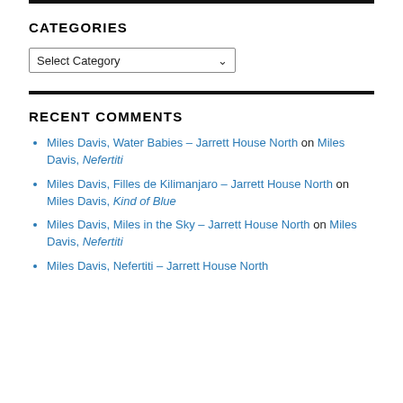CATEGORIES
Select Category
RECENT COMMENTS
Miles Davis, Water Babies – Jarrett House North on Miles Davis, Nefertiti
Miles Davis, Filles de Kilimanjaro – Jarrett House North on Miles Davis, Kind of Blue
Miles Davis, Miles in the Sky – Jarrett House North on Miles Davis, Nefertiti
Miles Davis, Nefertiti – Jarrett House North